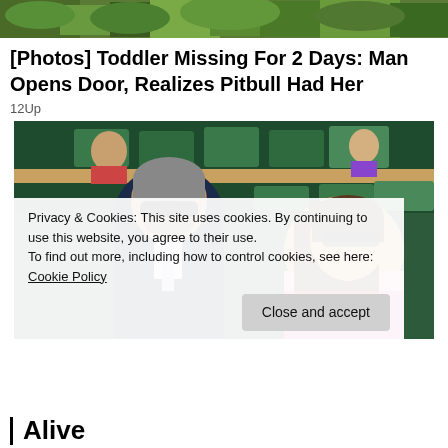[Figure (photo): Outdoor greenery/vegetation at top of page, cropped strip]
[Photos] Toddler Missing For 2 Days: Man Opens Door, Realizes Pitbull Had Her
12Up
[Figure (photo): Man and woman sitting in stadium seating at what appears to be a Wimbledon-type tennis event. Man is middle-aged with grey hair, beard, wearing sunglasses and dark navy suit with light tie. Woman has long brown hair and sunglasses, wearing floral dress. Green seating in background.]
Privacy & Cookies: This site uses cookies. By continuing to use this website, you agree to their use.
To find out more, including how to control cookies, see here: Cookie Policy
Close and accept
Alive